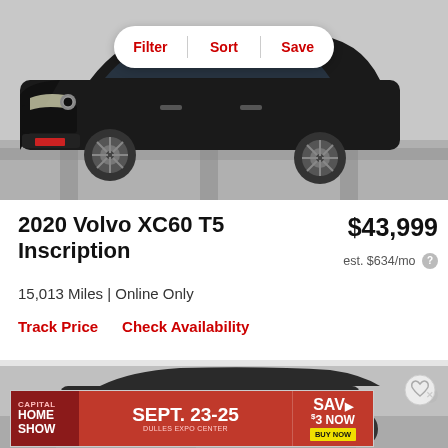[Figure (photo): Black 2020 Volvo XC60 T5 Inscription SUV photographed from front-left angle in a showroom with gray floor]
Filter | Sort | Save
2020 Volvo XC60 T5 Inscription
$43,999
est. $634/mo
15,013 Miles | Online Only
Track Price
Check Availability
[Figure (photo): Partial view of another vehicle listing below]
[Figure (infographic): Capital Home Show advertisement banner: SEPT. 23-25, DULLES EXPO CENTER, SAV $3 NOW, BUY NOW]